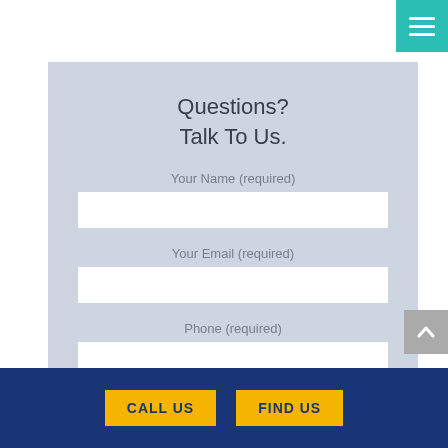[Figure (screenshot): Teal hamburger menu button in top right corner]
Questions?
Talk To Us.
Your Name (required)
Your Email (required)
Phone (required)
[Figure (screenshot): Gray scroll-to-top button with upward caret on right side]
CALL US
FIND US